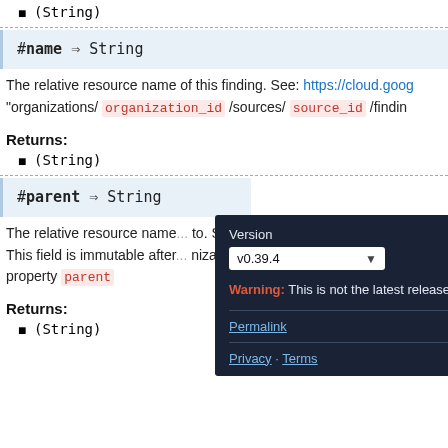(String)
#name ⇒ String
The relative resource name of this finding. See: https://cloud.goog... "organizations/ organization_id /sources/ source_id /findin...
Returns:
(String)
#parent ⇒ String
The relative resource name... to. S... This field is immutable after... niza... property parent
Returns:
(String)